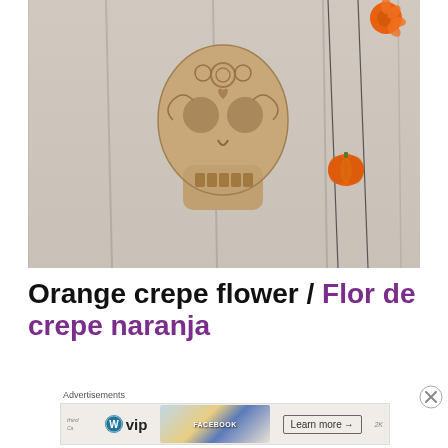[Figure (photo): A wooden laser-cut decorative sugar skull (calavera) with ornate floral and scroll patterns, mounted on a light grey wooden plank wall. An orange crepe paper flower is visible on the right side strung on dark wire garland.]
Orange crepe flower / Flor de crepe naranja
[Figure (infographic): Advertisements banner with WordPress VIP logo on the left and a 'Learn more' button on the right, with a map/social media collage background in the center.]